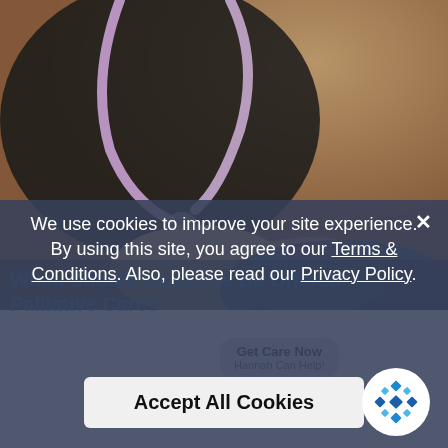[Figure (photo): A healthcare worker in dark scrubs with a purple stethoscope gently holding the hands of an elderly patient. Warm, compassionate bedside scene.]
We use cookies to improve your site experience. By using this site, you agree to our Terms & Conditions. Also, please read our Privacy Policy.
When Should Someone Be Offered Palliative Care?
Get Care Now
Hannah Can Help!
Accept All Cookies